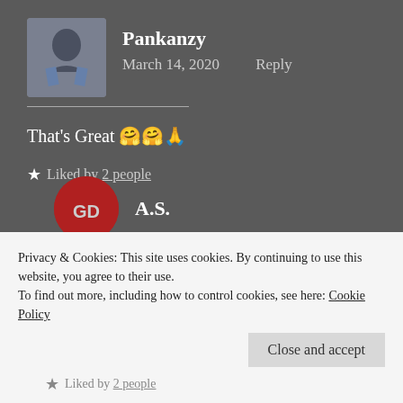[Figure (photo): Avatar photo of user Pankanzy, showing a man in a blue shirt]
Pankanzy
March 14, 2020   Reply
That's Great 🤗🤗🙏
★ Liked by 2 people
[Figure (logo): Red circular avatar with initials SD for user A.S.]
A.S.
Privacy & Cookies: This site uses cookies. By continuing to use this website, you agree to their use.
To find out more, including how to control cookies, see here: Cookie Policy
Close and accept
★ Liked by 2 people